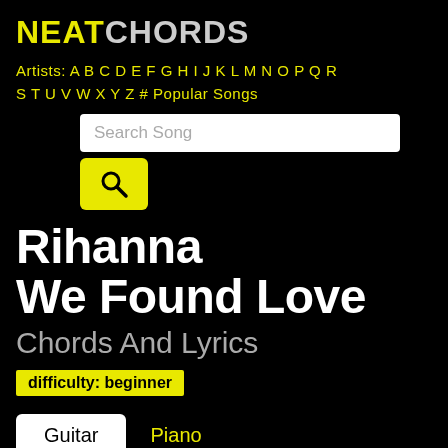NEATCHORDS
Artists: A B C D E F G H I J K L M N O P Q R S T U V W X Y Z # Popular Songs
[Figure (screenshot): Search bar with placeholder text 'Search Song' and a yellow search button with magnifying glass icon]
Rihanna We Found Love
Chords And Lyrics
difficulty: beginner
Guitar  Piano